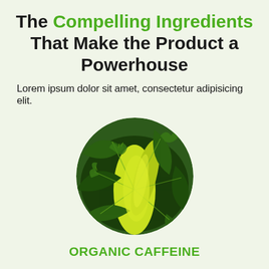The Compelling Ingredients That Make the Product a Powerhouse
Lorem ipsum dolor sit amet, consectetur adipisicing elit.
[Figure (photo): Close-up circular photo of green plant leaves with yellow-green highlights, resembling hemp or cannabis leaves.]
ORGANIC CAFFEINE